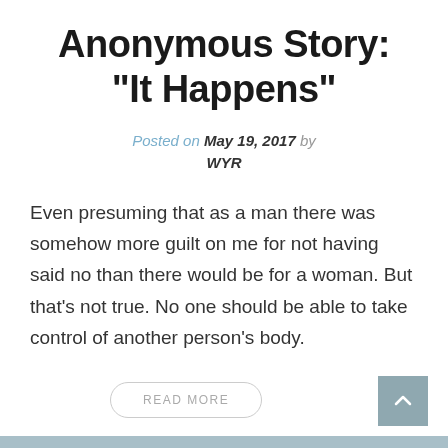Anonymous Story: “It Happens”
Posted on May 19, 2017 by WYR
Even presuming that as a man there was somehow more guilt on me for not having said no than there would be for a woman. But that's not true. No one should be able to take control of another person's body.
READ MORE